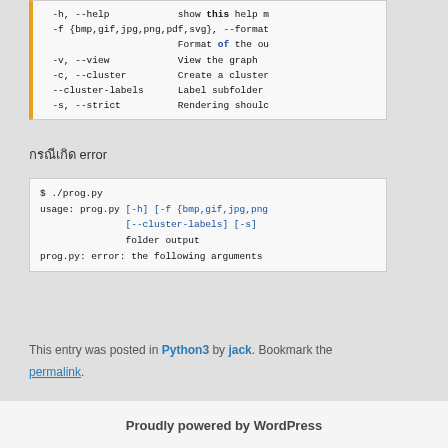[Figure (screenshot): Code block showing command-line help options: -h --help, -f {bmp,gif,jpg,png,pdf,svg} --format, -v --view, -c --cluster, --cluster-labels, -s --strict with descriptions]
กรณีเกิด error
[Figure (screenshot): Terminal output showing: $ ./prog.py, usage: prog.py [-h] [-f {bmp,gif,jpg,png,...}] [--cluster-labels] [-s] folder output, prog.py: error: the following arguments]
This entry was posted in Python3 by jack. Bookmark the permalink.
Proudly powered by WordPress